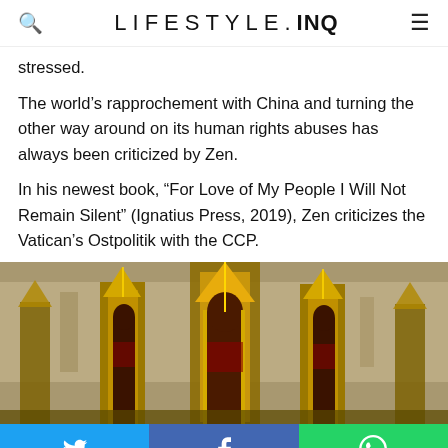LIFESTYLE.INQ
stressed.
The world’s rapprochement with China and turning the other way around on its human rights abuses has always been criticized by Zen.
In his newest book, “For Love of My People I Will Not Remain Silent” (Ignatius Press, 2019), Zen criticizes the Vatican’s Ostpolitik with the CCP.
[Figure (photo): Golden Gothic church spire ornaments with red and gold detailing against a blurred background]
Social share buttons: Twitter, Facebook, WhatsApp